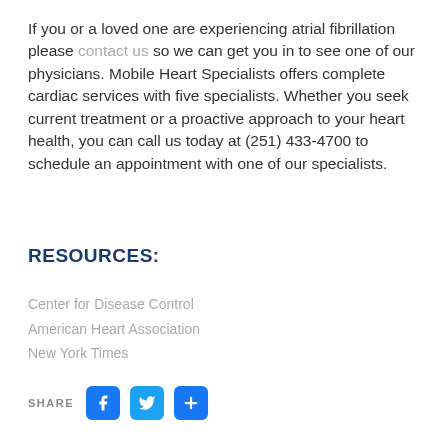If you or a loved one are experiencing atrial fibrillation please contact us so we can get you in to see one of our physicians. Mobile Heart Specialists offers complete cardiac services with five specialists. Whether you seek current treatment or a proactive approach to your heart health, you can call us today at (251) 433-4700 to schedule an appointment with one of our specialists.
RESOURCES:
Center for Disease Control
American Heart Association
New York Times
SHARE